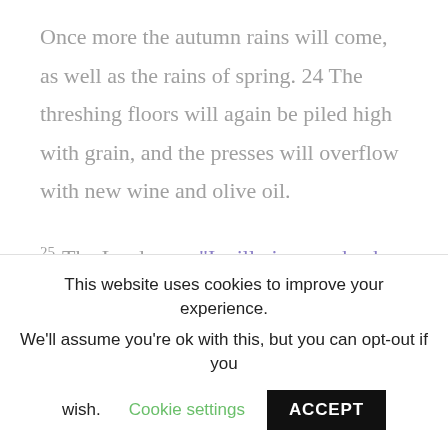Once more the autumn rains will come, as well as the rains of spring. 24 The threshing floors will again be piled high with grain, and the presses will overflow with new wine and olive oil.
25 The Lord says, “I will give you back what you lost to the swarming locusts, the hopping locusts, the stripping locusts, and
This website uses cookies to improve your experience. We’ll assume you’re ok with this, but you can opt-out if you wish. Cookie settings ACCEPT